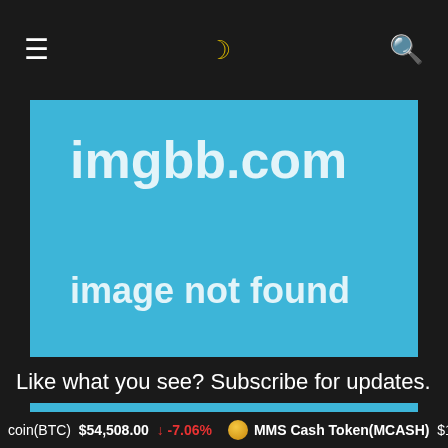≡  ☾  🔍
[Figure (screenshot): imgbb.com image not found placeholder — light blue rectangle with white bold text 'imgbb.com' at top and 'image not found' below]
Like what you see? Subscribe for updates.
coin(BTC) $54,508.00 ↓ -7.06%   MMS Cash Token(MCASH) $1.0